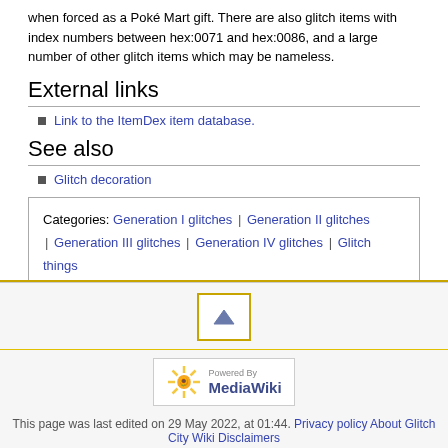when forced as a Poké Mart gift. There are also glitch items with index numbers between hex:0071 and hex:0086, and a large number of other glitch items which may be nameless.
External links
Link to the ItemDex item database.
See also
Glitch decoration
| Categories |
| --- |
| Generation I glitches | Generation II glitches | Generation III glitches | Generation IV glitches | Glitch things | Glitch items |
[Figure (other): Scroll to top button with upward triangle icon]
[Figure (logo): Powered by MediaWiki badge with sunflower logo]
This page was last edited on 29 May 2022, at 01:44.  Privacy policy  About Glitch City Wiki  Disclaimers